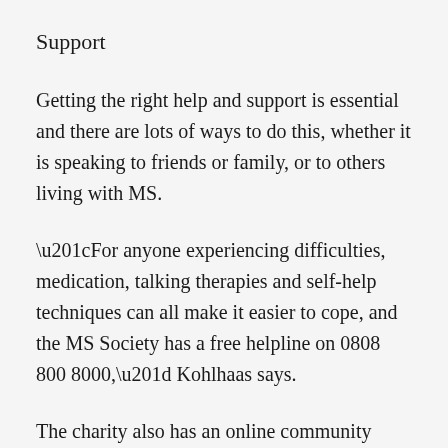Support
Getting the right help and support is essential and there are lots of ways to do this, whether it is speaking to friends or family, or to others living with MS.
“For anyone experiencing difficulties, medication, talking therapies and self-help techniques can all make it easier to cope, and the MS Society has a free helpline on 0808 800 8000,” Kohlhaas says.
The charity also has an online community with